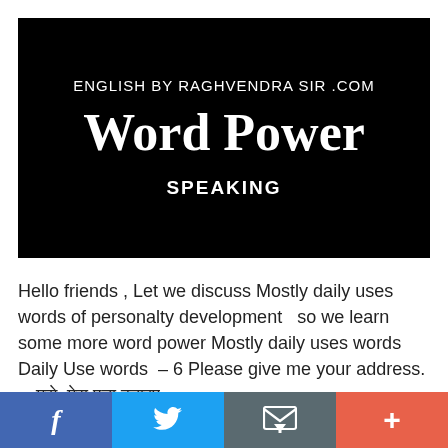[Figure (illustration): Black banner image with white text reading 'ENGLISH BY RAGHVENDRA SIR .COM', large bold 'Word Power', and 'SPEAKING' below]
Hello friends , Let we discuss Mostly daily uses words of personalty development   so we learn some more word power Mostly daily uses words   Daily Use words  – 6 Please give me your address. —मुझे  मेरा पता बताइए
[Figure (infographic): Social media share bar at bottom with Facebook (blue), Twitter (light blue), Email/envelope (dark grey), and plus/share (orange-red) buttons]